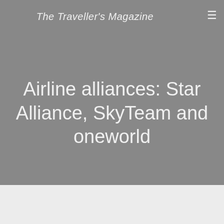The Traveller's Magazine
Airline alliances: Star Alliance, SkyTeam and oneworld